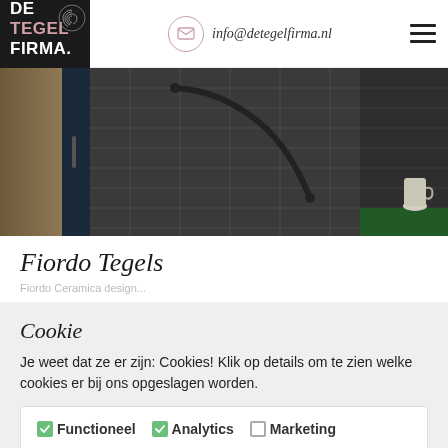[Figure (logo): De Tegel Firma logo — white text on dark background with fingerprint icon]
info@detegelfirma.nl
[Figure (photo): Dark bathroom tiles with a curved black grab bar and a jug on a green-lit shelf]
Fiordo Tegels
Fiordo Ceramica design...
Cookie
Je weet dat ze er zijn: Cookies! Klik op details om te zien welke cookies er bij ons opgeslagen worden.
Functioneel   Analytics   Marketing
Details